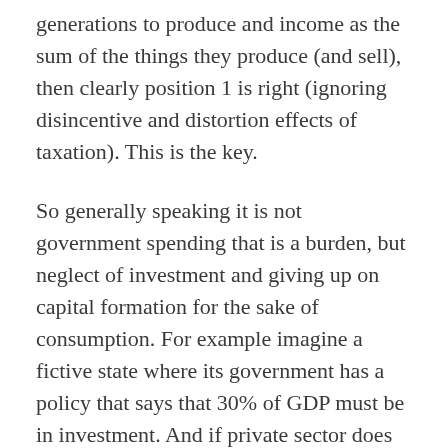generations to produce and income as the sum of the things they produce (and sell), then clearly position 1 is right (ignoring disincentive and distortion effects of taxation). This is the key.
So generally speaking it is not government spending that is a burden, but neglect of investment and giving up on capital formation for the sake of consumption. For example imagine a fictive state where its government has a policy that says that 30% of GDP must be in investment. And if private sector does not deliver,